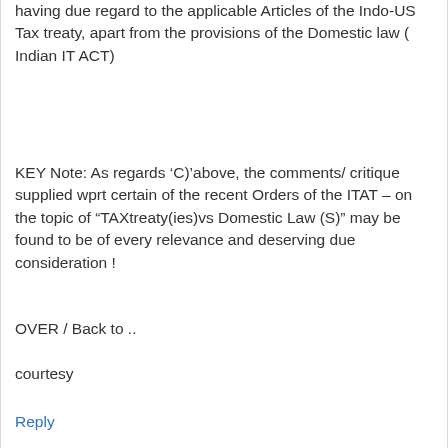having due regard to the applicable Articles of the Indo-US Tax treaty, apart from the provisions of the Domestic law ( Indian IT ACT)
KEY Note: As regards ‘C)’above, the comments/ critique supplied wprt certain of the recent Orders of the ITAT – on the topic of “TAXtreaty(ies)vs Domestic Law (S)” may be found to be of every relevance and deserving due consideration !
OVER / Back to ..
courtesy
Reply